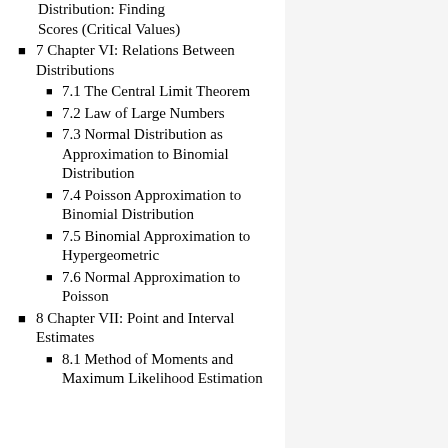Distribution: Finding Scores (Critical Values)
7 Chapter VI: Relations Between Distributions
7.1 The Central Limit Theorem
7.2 Law of Large Numbers
7.3 Normal Distribution as Approximation to Binomial Distribution
7.4 Poisson Approximation to Binomial Distribution
7.5 Binomial Approximation to Hypergeometric
7.6 Normal Approximation to Poisson
8 Chapter VII: Point and Interval Estimates
8.1 Method of Moments and Maximum Likelihood Estimation